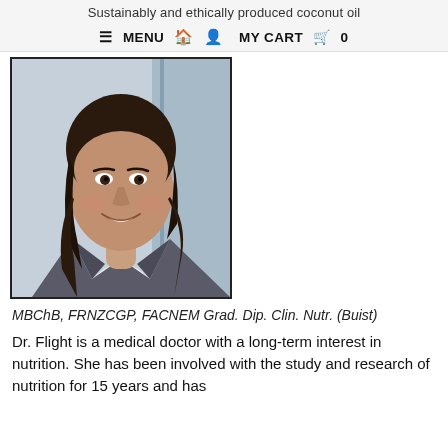Sustainably and ethically produced coconut oil
≡ MENU  🏠  👤  MY CART  🛒  0
[Figure (photo): Professional headshot of a woman with dark hair, wearing a grey blazer and white shirt with a necklace, smiling at the camera.]
MBChB, FRNZCGP, FACNEM Grad. Dip. Clin. Nutr. (Buist)
Dr. Flight is a medical doctor with a long-term interest in nutrition. She has been involved with the study and research of nutrition for 15 years and has